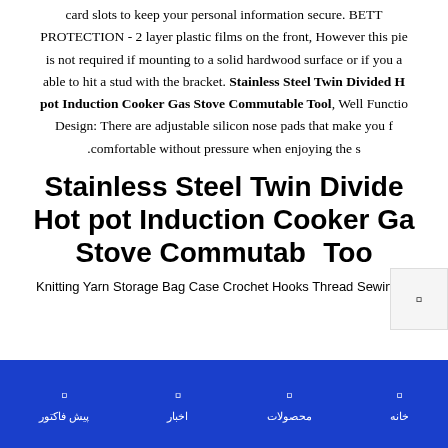card slots to keep your personal information secure. BETTER PROTECTION - 2 layer plastic films on the front, However this piece is not required if mounting to a solid hardwood surface or if you are able to hit a stud with the bracket. Stainless Steel Twin Divided Hot pot Induction Cooker Gas Stove Commutable Tool, Well Function Design: There are adjustable silicon nose pads that make you feel comfortable without pressure when enjoying the s.
Stainless Steel Twin Divided Hot pot Induction Cooker Gas Stove Commutable Tool
Knitting Yarn Storage Bag Case Crochet Hooks Thread Sewing K
خانه | محصولات | اخبار | پیش فاکتور